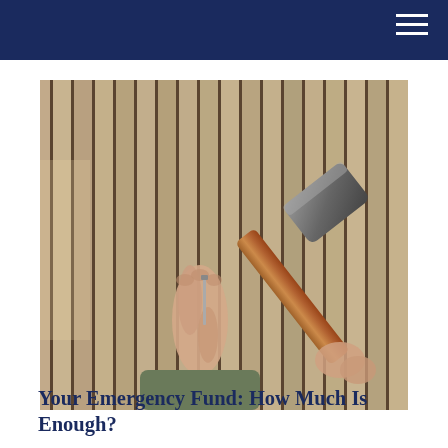[Figure (photo): Hands holding a nail against vertical wooden fence planks, with a hammer about to strike, suggesting home repair or construction work.]
Your Emergency Fund: How Much Is Enough?